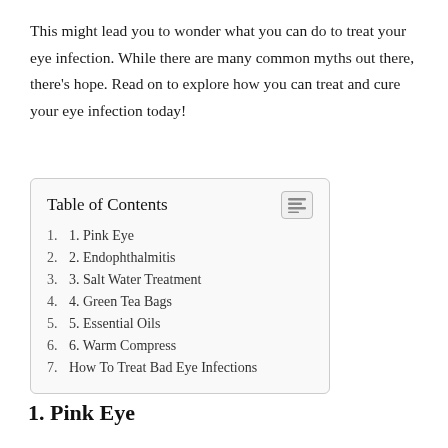This might lead you to wonder what you can do to treat your eye infection. While there are many common myths out there, there's hope. Read on to explore how you can treat and cure your eye infection today!
| Table of Contents |
| --- |
| 1. 1. Pink Eye |
| 2. 2. Endophthalmitis |
| 3. 3. Salt Water Treatment |
| 4. 4. Green Tea Bags |
| 5. 5. Essential Oils |
| 6. 6. Warm Compress |
| 7. How To Treat Bad Eye Infections |
1. Pink Eye